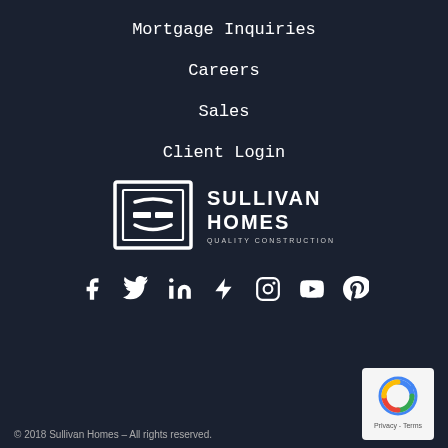Mortgage Inquiries
Careers
Sales
Client Login
[Figure (logo): Sullivan Homes Quality Construction logo with stylized S icon in a square frame]
[Figure (infographic): Social media icons row: Facebook, Twitter, LinkedIn, Houzz, Instagram, YouTube, Pinterest]
© 2018 Sullivan Homes – All rights reserved.